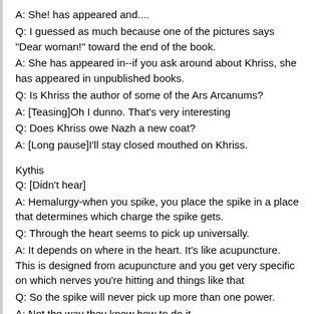A:  She! has appeared and....
Q:  I guessed as much because one of the pictures says "Dear woman!" toward the end of the book.
A:  She has appeared in--if you ask around about Khriss, she has appeared in unpublished books.
Q:  Is Khriss the author of some of the Ars Arcanums?
A:  [Teasing]Oh I dunno.  That's very interesting
Q:  Does Khriss owe Nazh a new coat?
A:  [Long pause]I'll stay closed mouthed on Khriss.
Kythis
Q:  [Didn't hear]
A:  Hemalurgy-when you spike, you place the spike in a place that determines which charge the spike gets.
Q:  Through the heart seems to pick up universally.
A:  It depends on where in the heart.  It's like acupuncture.  This is designed from acupuncture and you get very specific on which nerves you're hitting and things like that
Q:  So the spike will never pick up more than one power.
A:  Not the way they know how to do it.
Q:  Can they hold more than one Honorblade at a time?
A:  That is theoretically possible